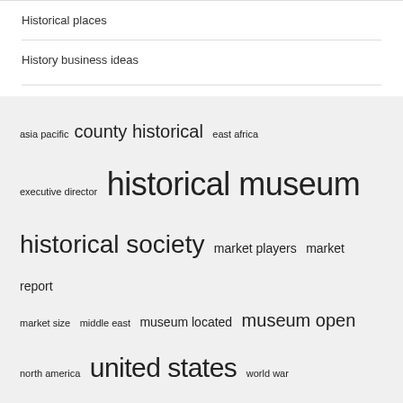Historical places
History business ideas
[Figure (infographic): Tag cloud with terms related to historical museums and places in varying font sizes: asia pacific (small), county historical (large), east africa (small), executive director (small), historical museum (very large), historical society (large), market players (medium), market report (medium), market size (small), middle east (small), museum located (medium), museum open (large), north america (small), united states (very large), world war (small)]
Recent Posts
Some text about recent posts...